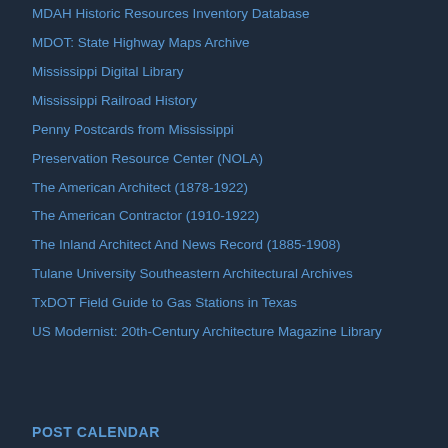MDAH Historic Resources Inventory Database
MDOT: State Highway Maps Archive
Mississippi Digital Library
Mississippi Railroad History
Penny Postcards from Mississippi
Preservation Resource Center (NOLA)
The American Architect (1878-1922)
The American Contractor (1910-1922)
The Inland Architect And News Record (1885-1908)
Tulane University Southeastern Architectural Archives
TxDOT Field Guide to Gas Stations in Texas
US Modernist: 20th-Century Architecture Magazine Library
POST CALENDAR